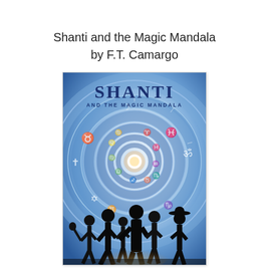Shanti and the Magic Mandala
by F.T. Camargo
[Figure (illustration): Book cover for 'Shanti and the Magic Mandala' by F.T. Camargo. The cover features a large blue mandala with astrological and religious symbols arranged in concentric spiral rings (zodiac signs, Om symbol, Star of David, crescent moon, cross, etc.). At the bottom are dark silhouettes of several people (adults and children) standing before a glowing portal in the center of the mandala. The title 'SHANTI' appears prominently at the top in large dark blue bold letters, with 'AND THE MAGIC MANDALA' below it in smaller spaced caps.]